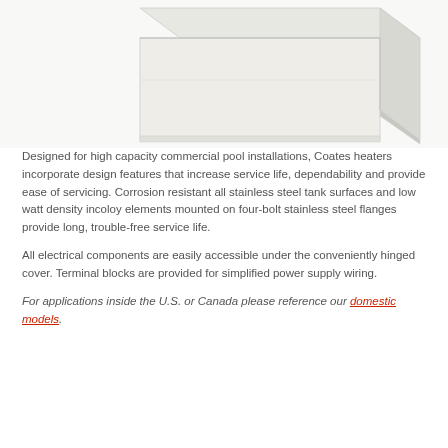[Figure (photo): Product photo of a Coates commercial pool heater — a large rectangular white/cream metal enclosure with a hinged cover, shown from a slightly elevated angle against a white background.]
Designed for high capacity commercial pool installations, Coates heaters incorporate design features that increase service life, dependability and provide ease of servicing. Corrosion resistant all stainless steel tank surfaces and low watt density incoloy elements mounted on four-bolt stainless steel flanges provide long, trouble-free service life.
All electrical components are easily accessible under the conveniently hinged cover. Terminal blocks are provided for simplified power supply wiring.
For applications inside the U.S. or Canada please reference our domestic models.